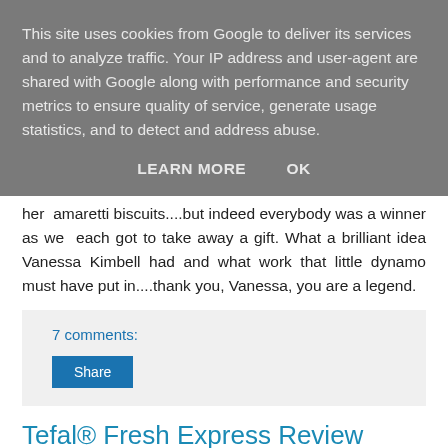This site uses cookies from Google to deliver its services and to analyze traffic. Your IP address and user-agent are shared with Google along with performance and security metrics to ensure quality of service, generate usage statistics, and to detect and address abuse.
LEARN MORE    OK
her amaretti biscuits....but indeed everybody was a winner as we each got to take away a gift. What a brilliant idea Vanessa Kimbell had and what work that little dynamo must have put in....thank you, Vanessa, you are a legend.
7 comments:
Share
Tefal® Fresh Express Review
Sometimes you get that little glimmer in your eye when you th